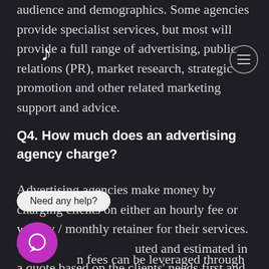audience and demographics. Some agencies provide specialist services, but most will provide a full range of advertising, public relations (PR), market research, strategic promotion and other related marketing support and advice.
Q4. How much does an advertising agency charge?
Advertising agencies make money by charging clients on either an hourly fee or weekly / monthly retainer for their services. This is calculated and estimated in a quote based on the clients' needs first and foremost.
Agency fees can be leveraged through product mark up when outsourcing bulk orders